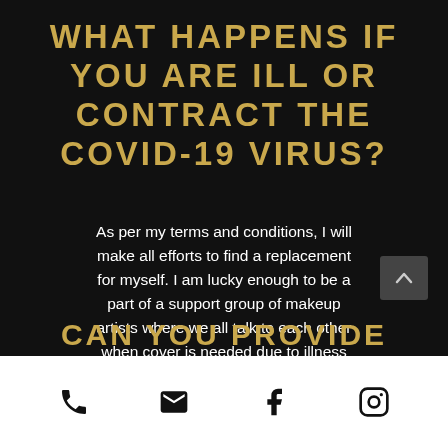WHAT HAPPENS IF YOU ARE ILL OR CONTRACT THE COVID-19 VIRUS?
As per my terms and conditions, I will make all efforts to find a replacement for myself. I am lucky enough to be a part of a support group of makeup artists where we all talk to each other when cover is needed due to illness and/or a postponement date that we can no longer do.
CAN YOU PROVIDE
[Figure (infographic): White footer bar with four social/contact icons: phone, email, Facebook, Instagram]